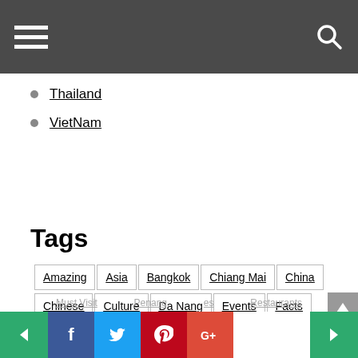Navigation header with hamburger menu and search icon
Thailand
VietNam
Tags
Amazing, Asia, Bangkok, Chiang Mai, China, Chinese, Culture, Da Nang, Events, Facts, Food, Foods, Gardens By The Bay, Guide, Halong Bay, Hoi An, Hotel Reviews, Hotels, Indonesia, Japan, Koh Samui, Kota Kinabalu, Kuala Lumpur, Langkawi, Malaysia, Must Try, Must Visit, Penang, ..., Restaurants
Social share bar: Facebook, Twitter, Pinterest, Google+; Previous and Next navigation buttons